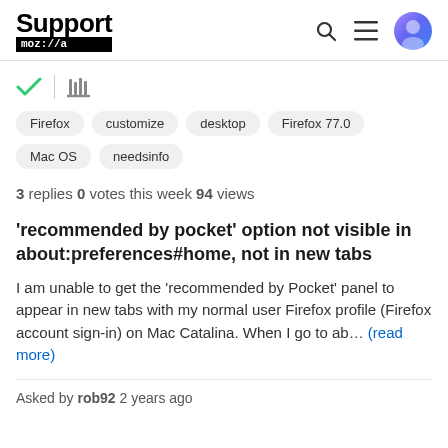Support moz://a
[Figure (logo): Mozilla Support logo with text 'Support' in bold and 'moz://a' on black background, plus search, menu, and avatar icons]
Firefox  customize  desktop  Firefox 77.0  Mac OS  needsinfo
3 replies  0 votes this week  94 views
'recommended by pocket' option not visible in about:preferences#home, not in new tabs
I am unable to get the 'recommended by Pocket' panel to appear in new tabs with my normal user Firefox profile (Firefox account sign-in) on Mac Catalina. When I go to ab... (read more)
Asked by rob92 2 years ago